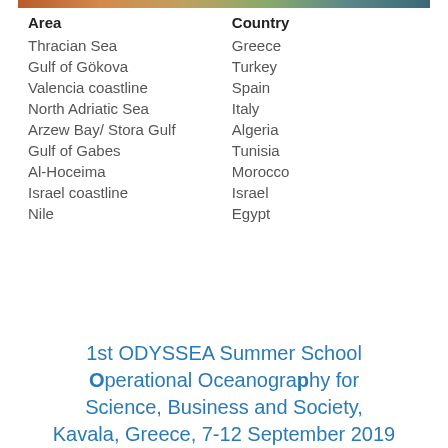[Figure (photo): Narrow horizontal image strip at top of page]
| Area | Country |
| --- | --- |
| Thracian Sea | Greece |
| Gulf of Gökova | Turkey |
| Valencia coastline | Spain |
| North Adriatic Sea | Italy |
| Arzew Bay/ Stora Gulf | Algeria |
| Gulf of Gabes | Tunisia |
| Al-Hoceima | Morocco |
| Israel coastline | Israel |
| Nile | Egypt |
1st ODYSSEA Summer School Operational Oceanography for Science, Business and Society, Kavala, Greece, 7-12 September 2019